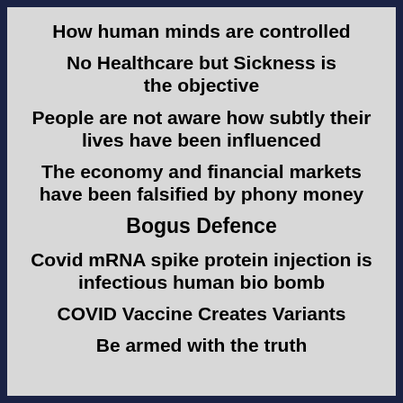How human minds are controlled
No Healthcare but Sickness is the objective
People are not aware how subtly their lives have been influenced
The economy and financial markets have been falsified by phony money
Bogus Defence
Covid mRNA spike protein injection is infectious human bio bomb
COVID Vaccine Creates Variants
Be armed with the truth